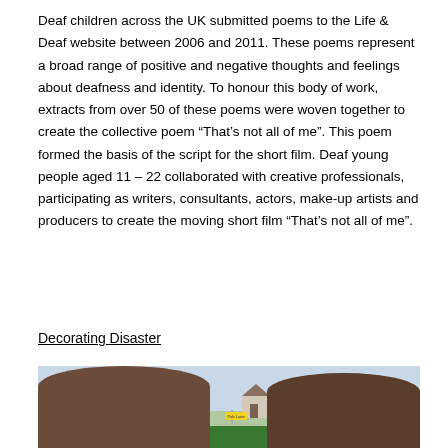Deaf children across the UK submitted poems to the Life & Deaf website between 2006 and 2011. These poems represent a broad range of positive and negative thoughts and feelings about deafness and identity. To honour this body of work, extracts from over 50 of these poems were woven together to create the collective poem “That’s not all of me”. This poem formed the basis of the script for the short film. Deaf young people aged 11 – 22 collaborated with creative professionals, participating as writers, consultants, actors, make-up artists and producers to create the moving short film “That’s not all of me”.
Decorating Disaster
[Figure (photo): A photograph showing the tops of people’s heads in the foreground with houses and greenery visible in the background under an overcast sky.]